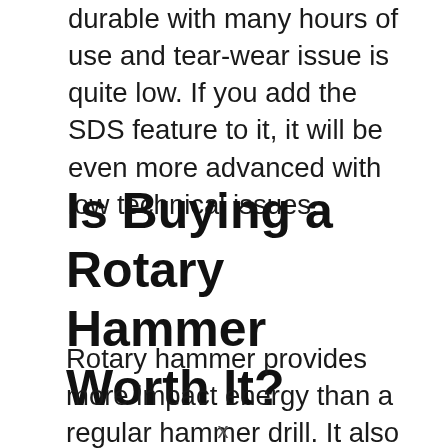durable with many hours of use and tear-wear issue is quite low. If you add the SDS feature to it, it will be even more advanced with low technical issues.
Is Buying a Rotary Hammer Worth It?
Rotary hammer provides more impact energy than a regular hammer drill. It also comes with three modes: drill mode, hammer drill, or only hammer, which makes this tool work as a little jackhammer and [orange box]
x